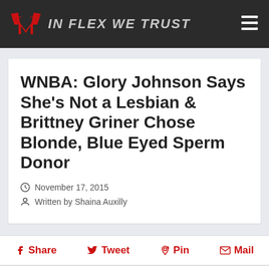IN FLEX WE TRUST
WNBA: Glory Johnson Says She's Not a Lesbian & Brittney Griner Chose Blonde, Blue Eyed Sperm Donor
November 17, 2015
Written by Shaina Auxilly
Share  Tweet  Pin  Mail